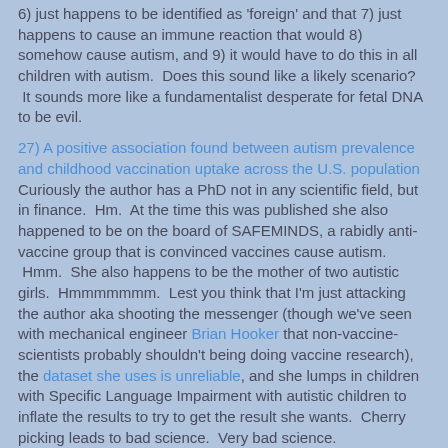6) just happens to be identified as 'foreign' and that 7) just happens to cause an immune reaction that would 8) somehow cause autism, and 9) it would have to do this in all children with autism.  Does this sound like a likely scenario?  It sounds more like a fundamentalist desperate for fetal DNA to be evil.
27) A positive association found between autism prevalence and childhood vaccination uptake across the U.S. population Curiously the author has a PhD not in any scientific field, but in finance.  Hm.  At the time this was published she also happened to be on the board of SAFEMINDS, a rabidly anti-vaccine group that is convinced vaccines cause autism.  Hmm.  She also happens to be the mother of two autistic girls.  Hmmmmmmm.  Lest you think that I'm just attacking the author aka shooting the messenger (though we've seen with mechanical engineer Brian Hooker that non-vaccine-scientists probably shouldn't being doing vaccine research), the dataset she uses is unreliable, and she lumps in children with Specific Language Impairment with autistic children to inflate the results to try to get the result she wants.  Cherry picking leads to bad science.  Very bad science.